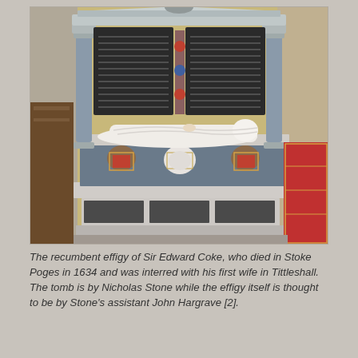[Figure (photo): A photograph of the recumbent effigy tomb of Sir Edward Coke inside a church. The monument features ornate marble architecture with columns, a pediment at the top, black inscription panels on either side, a white marble recumbent effigy lying on a grey tomb chest decorated with heraldic shields, and additional black inscription panels at the base.]
The recumbent effigy of Sir Edward Coke, who died in Stoke Poges in 1634 and was interred with his first wife in Tittleshall. The tomb is by Nicholas Stone while the effigy itself is thought to be by Stone's assistant John Hargrave [2].